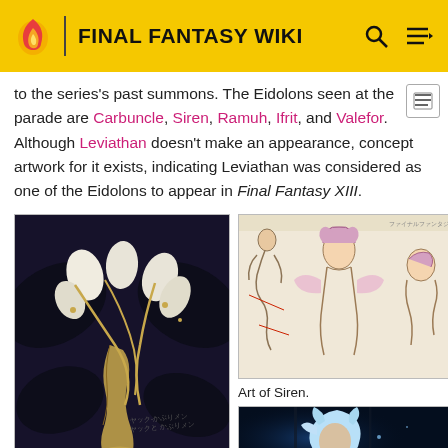FINAL FANTASY WIKI
to the series's past summons. The Eidolons seen at the parade are Carbuncle, Siren, Ramuh, Ifrit, and Valefor. Although Leviathan doesn't make an appearance, concept artwork for it exists, indicating Leviathan was considered as one of the Eidolons to appear in Final Fantasy XIII.
[Figure (illustration): Dark fantasy concept art of a creature with bat-like wings, chains, and a serpentine body in black and gold tones.]
[Figure (illustration): Concept art sketches of Siren character in multiple poses, showing a feminine figure with elaborate costume details on a light background.]
Art of Siren.
[Figure (illustration): Dark blue toned image showing a character with light-colored hair.]